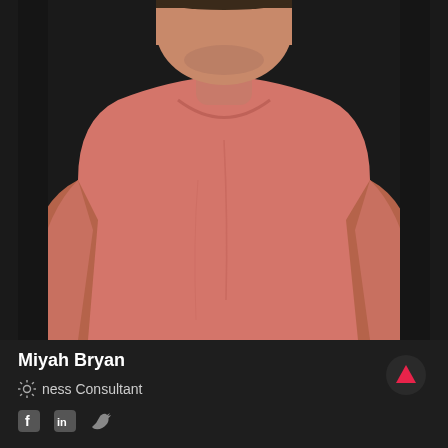[Figure (photo): Muscular man in a salmon/coral pink t-shirt against a dark background, cropped from chest to face (face partially visible at top)]
Miyah Bryan
☼ ness Consultant
[Figure (infographic): Social media icons: Facebook, LinkedIn, Twitter]